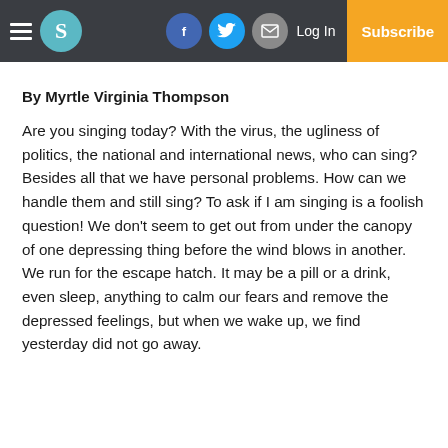Navigation bar with hamburger menu, S logo, Facebook, Twitter, email icons, Log In, Subscribe
By Myrtle Virginia Thompson
Are you singing today? With the virus, the ugliness of politics, the national and international news, who can sing? Besides all that we have personal problems. How can we handle them and still sing? To ask if I am singing is a foolish question! We don't seem to get out from under the canopy of one depressing thing before the wind blows in another. We run for the escape hatch. It may be a pill or a drink, even sleep, anything to calm our fears and remove the depressed feelings, but when we wake up, we find yesterday did not go away.